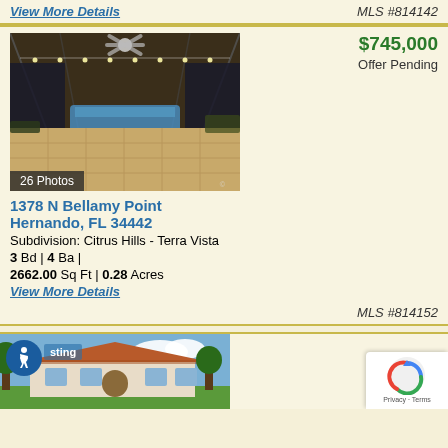View More Details
MLS #814142
[Figure (photo): Indoor pool area with string lights under a screened enclosure, travertine tile flooring, evening/night setting]
26 Photos
1378 N Bellamy Point
Hernando, FL 34442
$745,000
Offer Pending
Subdivision: Citrus Hills - Terra Vista
3 Bd | 4 Ba |
2662.00 Sq Ft | 0.28 Acres
View More Details
MLS #814152
[Figure (photo): Exterior of a Mediterranean-style home with tile roof, green lawn and trees]